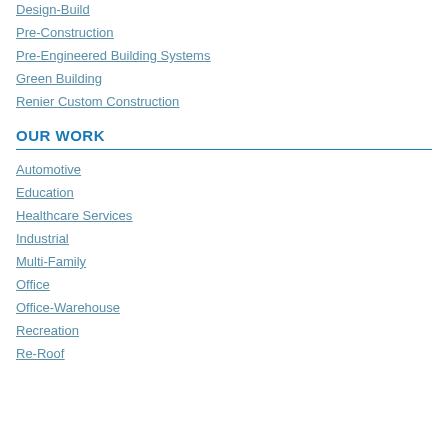Design-Build
Pre-Construction
Pre-Engineered Building Systems
Green Building
Renier Custom Construction
OUR WORK
Automotive
Education
Healthcare Services
Industrial
Multi-Family
Office
Office-Warehouse
Recreation
Re-Roof